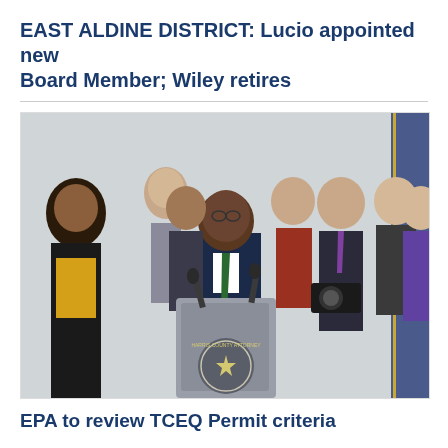EAST ALDINE DISTRICT: Lucio appointed new Board Member; Wiley retires
[Figure (photo): A person in a dark navy suit with a green tie stands at a lectern bearing the Harris County Attorney seal, speaking at a press conference. Several people stand behind the speaker in a group.]
EPA to review TCEQ Permit criteria